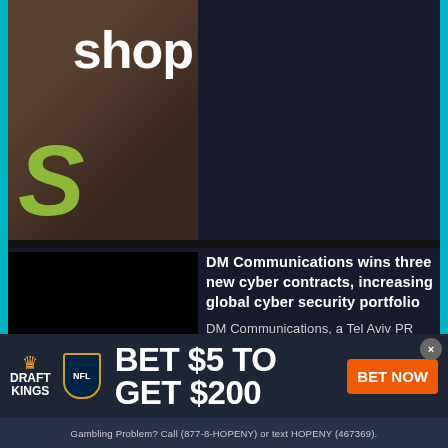[Figure (photo): Shopify store logo with green 'S' and white 'shop' text on dark brown background]
[Figure (logo): DM Communications black logo with white italic DM lettering and COMMUNICATIONS text below]
DM Communications wins three new cyber contracts, increasing global cyber security portfolio
DM Communications, a Tel Aviv PR Management and marketing strategy ...
[Figure (photo): Partial photo of an old car]
How to Repair Your Old Car
[Figure (infographic): DraftKings NFL advertisement: BET $5 TO GET $200 with BET NOW button. Gambling Problem? Call (877-8-HOPENY) or text HOPENY (467369).]